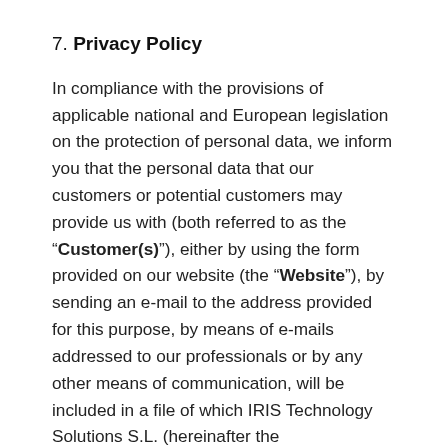7. Privacy Policy
In compliance with the provisions of applicable national and European legislation on the protection of personal data, we inform you that the personal data that our customers or potential customers may provide us with (both referred to as the "Customer(s)"), either by using the form provided on our website (the "Website"), by sending an e-mail to the address provided for this purpose, by means of e-mails addressed to our professionals or by any other means of communication, will be included in a file of which IRIS Technology Solutions S.L. (hereinafter the CONTROLLER) with Value Added Tax ID number B64446123 and registered office in C/Velázquez 94 1ª Planta, 28006 Madrid, is the owner and data